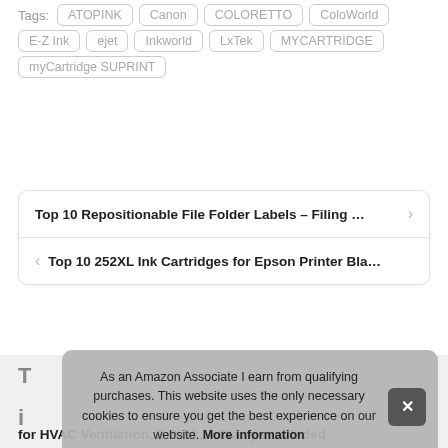Tags: ATOPINK Canon COLORETTO ColoWorld E-Z Ink ejet Inkworld LxTek MYCARTRIDGE myCartridge SUPRINT
Top 10 Repositionable File Folder Labels – Filing …
Top 10 252XL Ink Cartridges for Epson Printer Bla…
As an Amazon Associate I earn from qualifying purchases. This website uses the only necessary cookies to ensure you get the best experience on our website. More information
for HVAC Ventilation, 2 Pack, 4 Clamps included